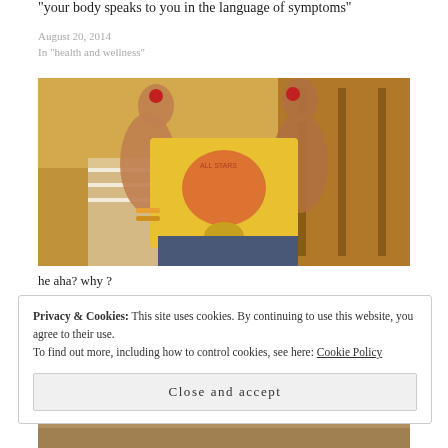"your body speaks to you in the language of symptoms"
August 20, 2014
In "health and wellness"
[Figure (photo): Person wearing a yellow graphic t-shirt knotted at the waist, holding something in both hands raised up, standing in front of what appears to be shelves or racks]
he aha? why ?
Privacy & Cookies: This site uses cookies. By continuing to use this website, you agree to their use.
To find out more, including how to control cookies, see here: Cookie Policy
Close and accept